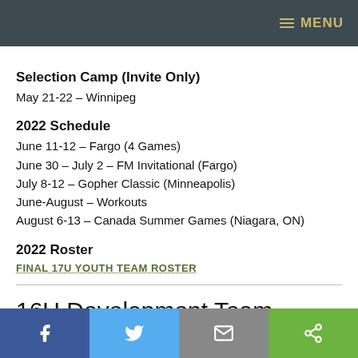MENU
Selection Camp (Invite Only)
May 21-22 – Winnipeg
2022 Schedule
June 11-12 – Fargo (4 Games)
June 30 – July 2 – FM Invitational (Fargo)
July 8-12 – Gopher Classic (Minneapolis)
June-August – Workouts
August 6-13 – Canada Summer Games (Niagara, ON)
2022 Roster
FINAL 17U YOUTH TEAM ROSTER
16U Development Team